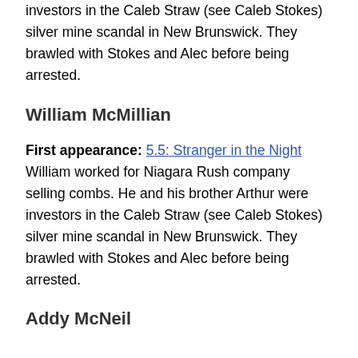investors in the Caleb Straw (see Caleb Stokes) silver mine scandal in New Brunswick. They brawled with Stokes and Alec before being arrested.
William McMillian
First appearance: 5.5: Stranger in the Night
William worked for Niagara Rush company selling combs. He and his brother Arthur were investors in the Caleb Straw (see Caleb Stokes) silver mine scandal in New Brunswick. They brawled with Stokes and Alec before being arrested.
Addy McNeil